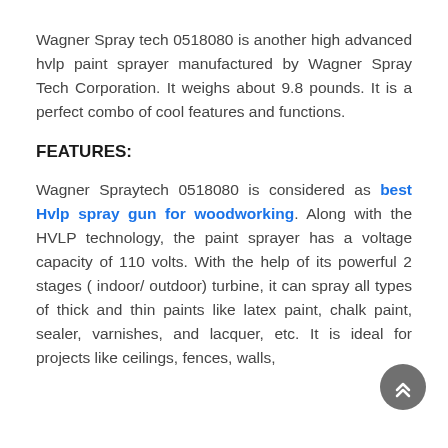Wagner Spray tech 0518080 is another high advanced hvlp paint sprayer manufactured by Wagner Spray Tech Corporation. It weighs about 9.8 pounds. It is a perfect combo of cool features and functions.
FEATURES:
Wagner Spraytech 0518080 is considered as best Hvlp spray gun for woodworking. Along with the HVLP technology, the paint sprayer has a voltage capacity of 110 volts. With the help of its powerful 2 stages ( indoor/ outdoor) turbine, it can spray all types of thick and thin paints like latex paint, chalk paint, sealer, varnishes, and lacquer, etc. It is ideal for projects like ceilings, fences, walls,